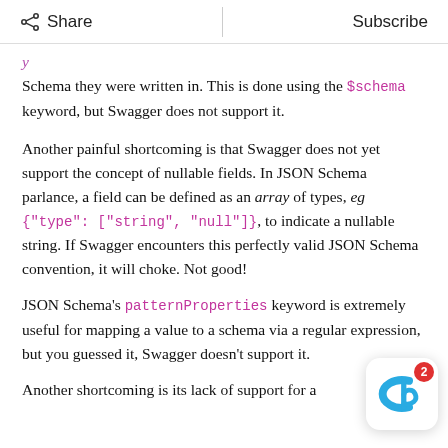Share   |   Subscribe
Schema they were written in. This is done using the $schema keyword, but Swagger does not support it.
Another painful shortcoming is that Swagger does not yet support the concept of nullable fields. In JSON Schema parlance, a field can be defined as an array of types, eg {"type": ["string", "null"]}, to indicate a nullable string. If Swagger encounters this perfectly valid JSON Schema convention, it will choke. Not good!
JSON Schema's patternProperties keyword is extremely useful for mapping a value to a schema via a regular expression, but you guessed it, Swagger doesn't support it.
Another shortcoming is its lack of support for a